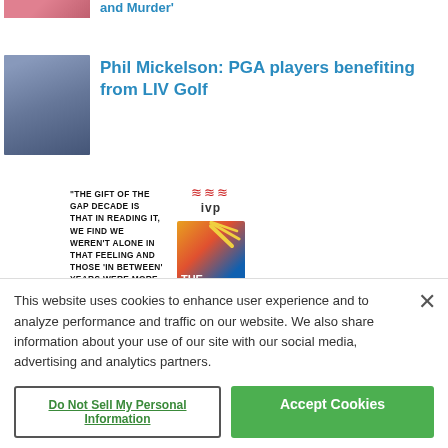and Murder'
Phil Mickelson: PGA players benefiting from LIV Golf
[Figure (photo): Phil Mickelson photo thumbnail]
[Figure (infographic): Book advertisement with quote: "THE GIFT OF THE GAP DECADE IS THAT IN READING IT, WE FIND WE WEREN'T ALONE IN THAT FEELING AND THOSE 'IN BETWEEN' YEARS WERE MORE" with IVP logo and book cover]
This website uses cookies to enhance user experience and to analyze performance and traffic on our website. We also share information about your use of our site with our social media, advertising and analytics partners.
Do Not Sell My Personal Information
Accept Cookies